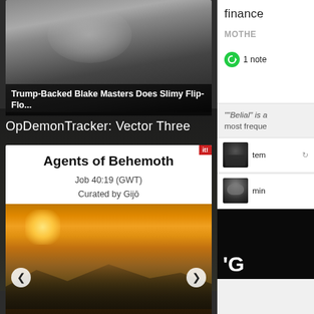[Figure (photo): Close-up photo of a person's face (appears to be Blake Masters), partially visible, dark tones]
Trump-Backed Blake Masters Does Slimy Flip-Flo...
OpDemonTracker: Vector Three
Agents of Behemoth
Job 40:19 (GWT)
Curated by Gijō
[Figure (photo): Landscape photo with dramatic orange/golden sunset over mountains and water, California scenery]
California Passes Massive Climate Legislation Pa...
finance
MOTHE
1 note
""Belial" is a most freque
[Figure (photo): User avatar with dark/masked appearance - tem]
[Figure (photo): User avatar with Guy Fawkes mask - min]
[Figure (photo): Dark black image with white letter G partially visible]